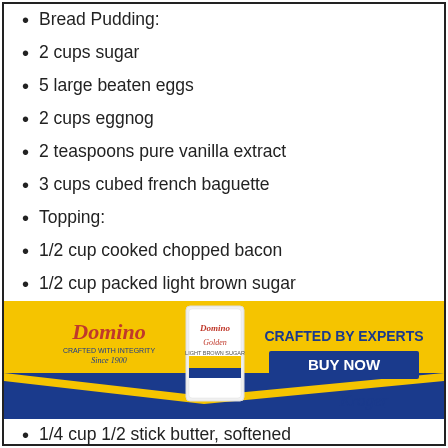Bread Pudding:
2 cups sugar
5 large beaten eggs
2 cups eggnog
2 teaspoons pure vanilla extract
3 cups cubed french baguette
Topping:
1/2 cup cooked chopped bacon
1/2 cup packed light brown sugar
[Figure (infographic): Domino Sugar advertisement banner featuring Domino Golden Sugar bag, text 'CRAFTED BY EXPERTS', 'BUY NOW' button, Kroger logo, yellow and navy blue design.]
1/4 cup 1/2 stick butter, softened
1 cup chopped pecans
For the sauce:
1 cup sugar